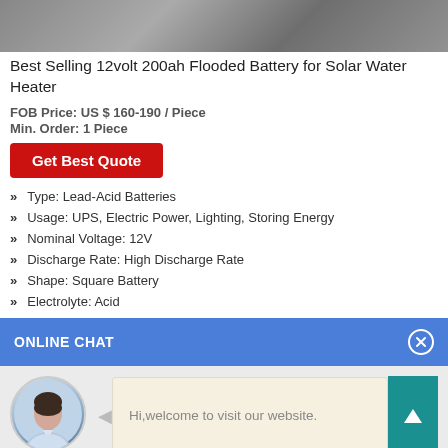[Figure (photo): Partial product image of a solar battery, showing dark/grey surface texture]
Best Selling 12volt 200ah Flooded Battery for Solar Water Heater
FOB Price: US $ 160-190 / Piece
Min. Order: 1 Piece
[Figure (other): Red 'Get Best Quote' button]
Type: Lead-Acid Batteries
Usage: UPS, Electric Power, Lighting, Storing Energy
Nominal Voltage: 12V
Discharge Rate: High Discharge Rate
Shape: Square Battery
Electrolyte: Acid
ONLINE CHAT
[Figure (photo): Avatar photo of a woman named Cilina in a light blue shirt]
Hi,welcome to visit our website.